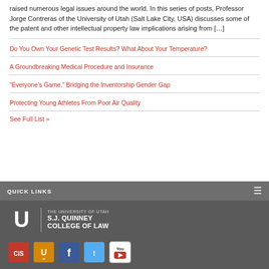raised numerous legal issues around the world. In this series of posts, Professor Jorge Contreras of the University of Utah (Salt Lake City, USA) discusses some of the patent and other intellectual property law implications arising from […]
Do You Own Your Genetic Test Results? What About Your Temperature?
A Groundbreaking Medical Procedure and Insurance
“Everyone’s Game.” Bridging the Inventorship Gender Gap
Protecting Young Athletes From Poor Air Quality
See Full List »
QUICK LINKS
[Figure (logo): The University of Utah S.J. Quinney College of Law logo — white U logo, vertical divider, text reading THE UNIVERSITY OF UTAH / S.J. QUINNEY / COLLEGE OF LAW]
[Figure (infographic): Social media icons: CIS (red), U of U (orange), Facebook (blue), Twitter (blue), YouTube (white/red)]